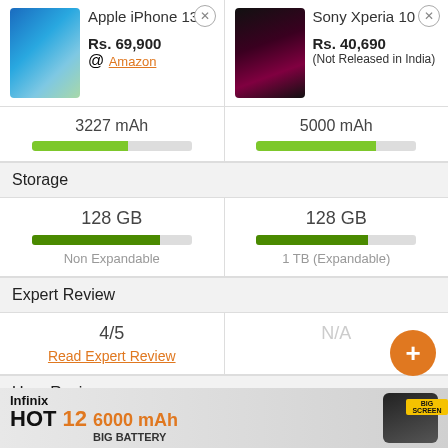[Figure (screenshot): Apple iPhone 13 product image thumbnail]
Apple iPhone 13
Rs. 69,900
@ Amazon
[Figure (screenshot): Sony Xperia 10 IV product image thumbnail]
Sony Xperia 10 IV
Rs. 40,690
(Not Released in India)
3227 mAh
5000 mAh
Storage
128 GB
Non Expandable
128 GB
1 TB (Expandable)
Expert Review
4/5
Read Expert Review
N/A
User Review
4.6/5
(10,489 ratings)
[Figure (infographic): Infinix HOT 12 advertisement banner — 6000 mAh BIG BATTERY BIG SCREEN]